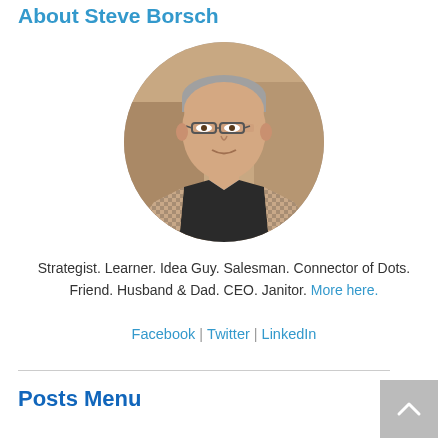About Steve Borsch
[Figure (photo): Circular portrait photo of Steve Borsch, a man wearing glasses and a houndstooth blazer over a dark sweater, photographed in what appears to be a restaurant or café setting.]
Strategist. Learner. Idea Guy. Salesman. Connector of Dots. Friend. Husband & Dad. CEO. Janitor. More here.
Facebook | Twitter | LinkedIn
Posts Menu